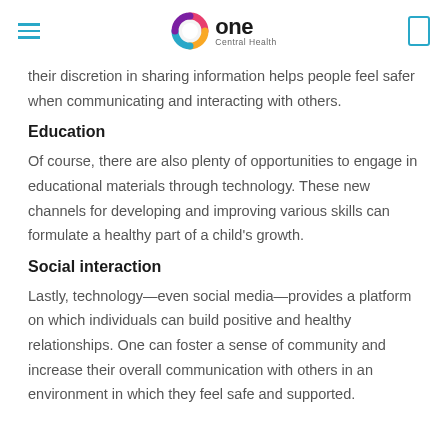One Central Health
their discretion in sharing information helps people feel safer when communicating and interacting with others.
Education
Of course, there are also plenty of opportunities to engage in educational materials through technology. These new channels for developing and improving various skills can formulate a healthy part of a child's growth.
Social interaction
Lastly, technology—even social media—provides a platform on which individuals can build positive and healthy relationships. One can foster a sense of community and increase their overall communication with others in an environment in which they feel safe and supported.